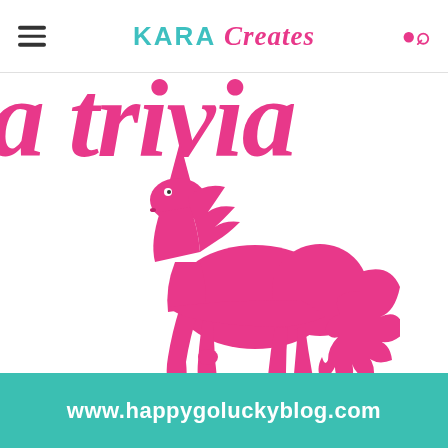KARA Creates
[Figure (illustration): Pink hot-pink unicorn silhouette walking/prancing to the right, with a horn, flowing mane and tail, on a white background. Behind the unicorn, large hot-pink italic script text reads 'a trivia' partially cropped at the top.]
www.happygoluckyblog.com